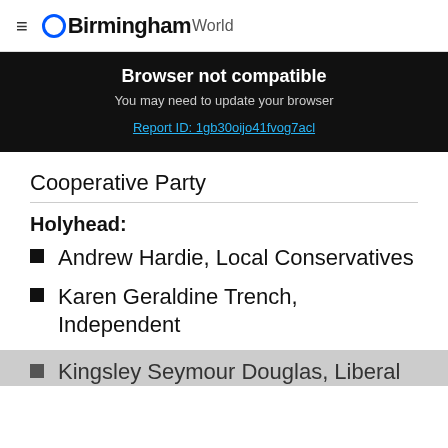≡ Birmingham World
Browser not compatible
You may need to update your browser
Report ID: 1gb30oijo41fvog7acl
Cooperative Party
Holyhead:
Andrew Hardie, Local Conservatives
Karen Geraldine Trench, Independent
Kingsley Seymour Douglas, Liberal